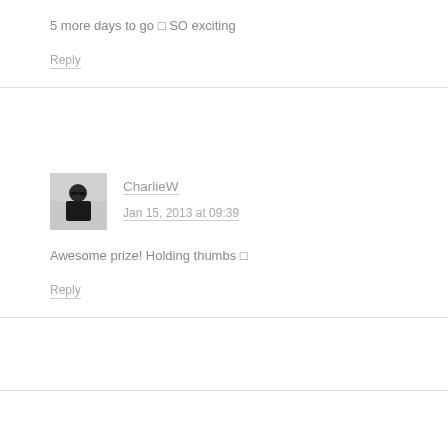5 more days to go 🙂 SO exciting
Reply
CharlieW
Jan 15, 2013 at 09:39
Awesome prize! Holding thumbs 🙂
Reply